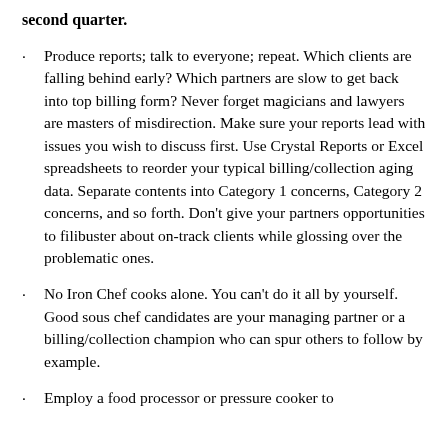second quarter.
Produce reports; talk to everyone; repeat. Which clients are falling behind early? Which partners are slow to get back into top billing form? Never forget magicians and lawyers are masters of misdirection. Make sure your reports lead with issues you wish to discuss first. Use Crystal Reports or Excel spreadsheets to reorder your typical billing/collection aging data. Separate contents into Category 1 concerns, Category 2 concerns, and so forth. Don’t give your partners opportunities to filibuster about on-track clients while glossing over the problematic ones.
No Iron Chef cooks alone. You can’t do it all by yourself. Good sous chef candidates are your managing partner or a billing/collection champion who can spur others to follow by example.
Employ a food processor or pressure cooker to